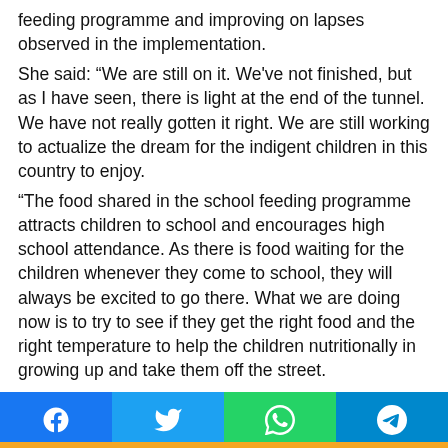feeding programme and improving on lapses observed in the implementation.
She said: “We are still on it. We've not finished, but as I have seen, there is light at the end of the tunnel. We have not really gotten it right. We are still working to actualize the dream for the indigent children in this country to enjoy.
“The food shared in the school feeding programme attracts children to school and encourages high school attendance. As there is food waiting for the children whenever they come to school, they will always be excited to go there. What we are doing now is to try to see if they get the right food and the right temperature to help the children nutritionally in growing up and take them off the street.
“The program is aimed at helping the parents too at home, who cannot afford feeding the children. So, it is a kind of relief. If the facilitators take our suggestions, they will get there. They